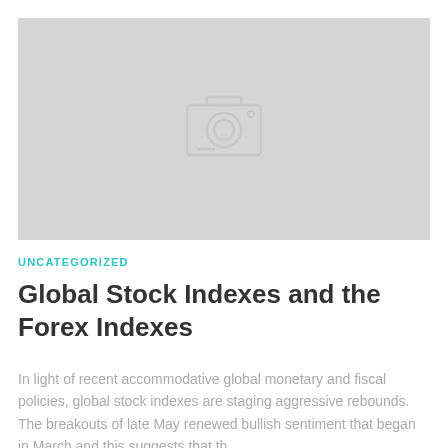[Figure (photo): Placeholder image with camera icon on grey background]
UNCATEGORIZED
Global Stock Indexes and the Forex Indexes
In light of recent accommodative global monetary and fiscal policies, global stock indexes are staging aggressive rebounds. The breakouts of late May renewed bullish sentiment that began in March and this suggests that the